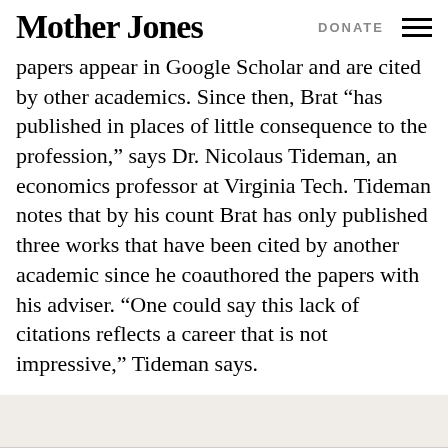Mother Jones | DONATE
papers appear in Google Scholar and are cited by other academics. Since then, Brat “has published in places of little consequence to the profession,” says Dr. Nicolaus Tideman, an economics professor at Virginia Tech. Tideman notes that by his count Brat has only published three works that have been cited by another academic since he coauthored the papers with his adviser. “One could say this lack of citations reflects a career that is not impressive,” Tideman says.
MOTHER JONES TOP STORIES
[Figure (photo): Partial image strip at bottom of page, appears to be a news photo thumbnail]